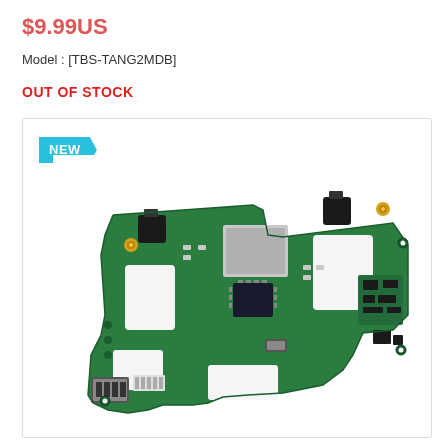$9.99US
Model : [TBS-TANG2MDB]
OUT OF STOCK
[Figure (photo): Green PCB circuit board (TBS Tang 2 main board) with components including push-button switches, RF module, microchip, USB connectors, and antenna connectors, photographed on white background. A 'NEW' badge label is shown in top-left corner of the product image box.]